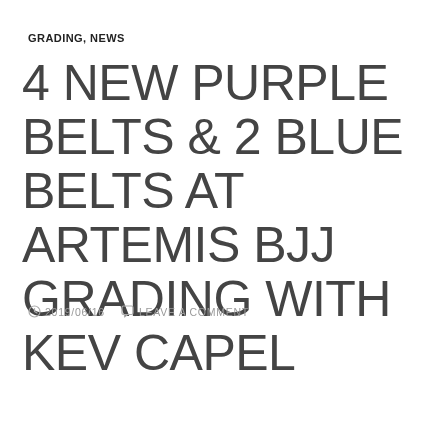GRADING, NEWS
4 NEW PURPLE BELTS & 2 BLUE BELTS AT ARTEMIS BJJ GRADING WITH KEV CAPEL
2019/06/16   LEAVE A COMMENT